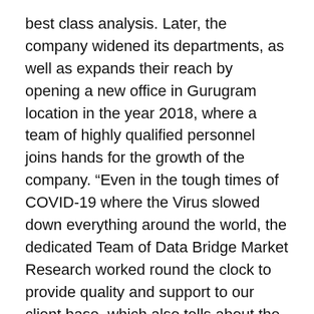best class analysis. Later, the company widened its departments, as well as expands their reach by opening a new office in Gurugram location in the year 2018, where a team of highly qualified personnel joins hands for the growth of the company. “Even in the tough times of COVID-19 where the Virus slowed down everything around the world, the dedicated Team of Data Bridge Market Research worked round the clock to provide quality and support to our client base, which also tells about the excellence in our sleeve.”
Data Bridge Market Research has over 500 analysts working in different industries. We have catered more than 40% of the fortune 500 companies globally and have a network of more than 5000+ clientele around the globe.
Contact:
Data Bridge Market Research